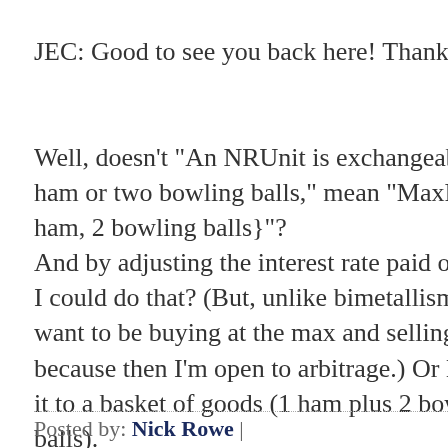JEC: Good to see you back here! Thanks!
Well, doesn't "An NRUnit is exchangeable for one ham or two bowling balls," mean "MaxPrice{ 1 ham, 2 bowling balls}"?
And by adjusting the interest rate paid on NRUnits, I could do that? (But, unlike bimetallism, I don't want to be buying at the max and selling at the min, because then I'm open to arbitrage.) Or I could peg it to a basket of goods (1 ham plus 2 bowling balls).
Posted by: Nick Rowe |